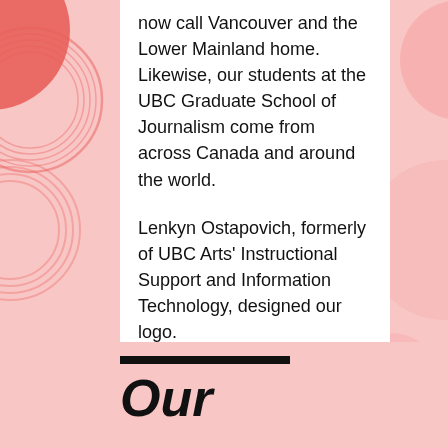now call Vancouver and the Lower Mainland home. Likewise, our students at the UBC Graduate School of Journalism come from across Canada and around the world.

Lenkyn Ostapovich, formerly of UBC Arts' Instructional Support and Information Technology, designed our logo.
Our